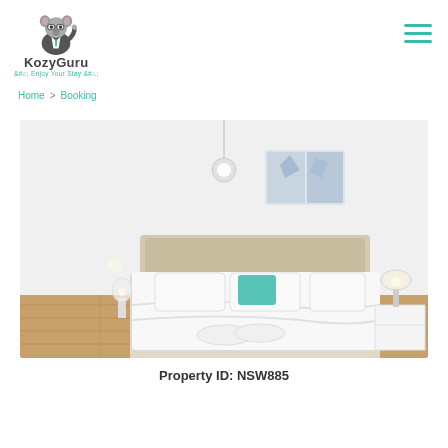KozyGuru – Enjoy Your Stay
Home > Booking
[Figure (photo): Bright white bedroom with a double bed dressed in white linen, teal accent cushions, wall art above headboard, bedside lamp on white nightstand, timber hardwood floor, pendant ceiling light.]
Property ID: NSW885